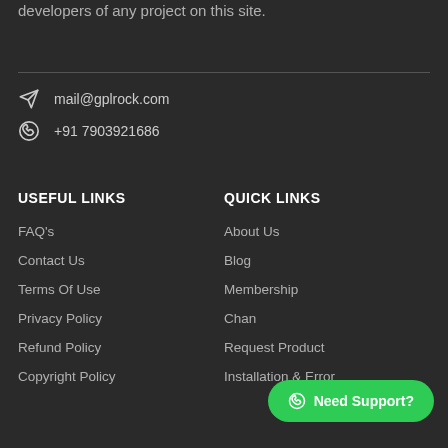developers of any project on this site.
mail@gplrock.com
+91 7903921686
USEFUL LINKS
QUICK LINKS
FAQ's
Contact Us
Terms Of Use
Privacy Policy
Refund Policy
Copyright Policy
About Us
Blog
Membership
Chan...
Request Product
Installation & Error
Need Support?